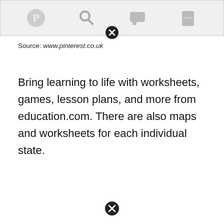[Figure (screenshot): Top bar of a Pinterest-style website interface with social sharing icons (Pinterest, search, chat, bookmark) and a close button (circled X) at the bottom edge]
Source: www.pinterest.co.uk
Bring learning to life with worksheets, games, lesson plans, and more from education.com. There are also maps and worksheets for each individual state.
[Figure (other): Close button (circled X icon) at the bottom of the page]